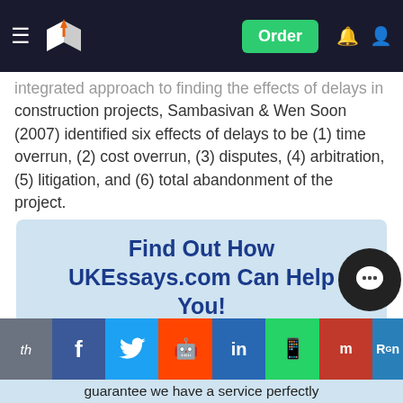UKEssays.com navigation bar with Order button
integrated approach to finding the effects of delays in construction projects, Sambasivan & Wen Soon (2007) identified six effects of delays to be (1) time overrun, (2) cost overrun, (3) disputes, (4) arbitration, (5) litigation, and (6) total abandonment of the project.
[Figure (infographic): Promotional box: Find Out How UKEssays.com Can Help You! Our academic experts are ready and waiting to assist with any writing project you may have. From simple essay plans, through to full dissertations, you can guarantee we have a service perfectly...]
[Figure (infographic): Social sharing bar with Facebook, Twitter, Reddit, LinkedIn, WhatsApp, Mendeley, ResearchGate buttons]